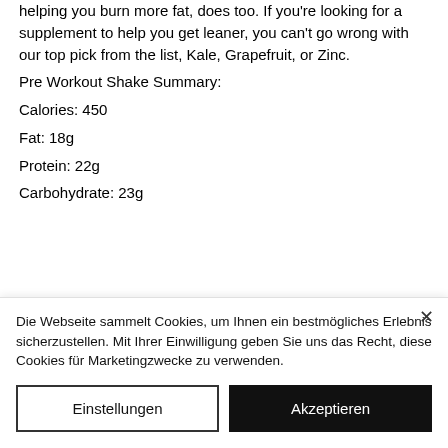helping you burn more fat, does too. If you're looking for a supplement to help you get leaner, you can't go wrong with our top pick from the list, Kale, Grapefruit, or Zinc.
Pre Workout Shake Summary:
Calories: 450
Fat: 18g
Protein: 22g
Carbohydrate: 23g
Die Webseite sammelt Cookies, um Ihnen ein bestmögliches Erlebnis sicherzustellen. Mit Ihrer Einwilligung geben Sie uns das Recht, diese Cookies für Marketingzwecke zu verwenden.